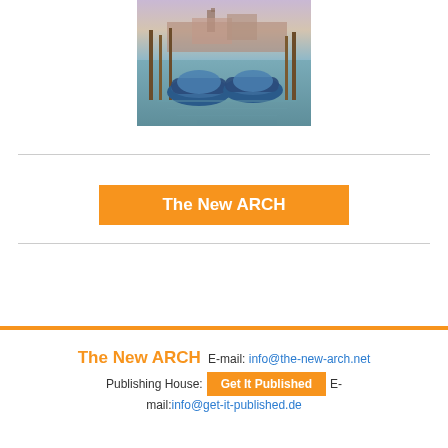[Figure (photo): Photo of Venice gondolas moored at a dock with a church/cathedral in the background at dusk]
The New ARCH
The New ARCH  E-mail: info@the-new-arch.net
Publishing House: Get It Published  E-mail:info@get-it-published.de